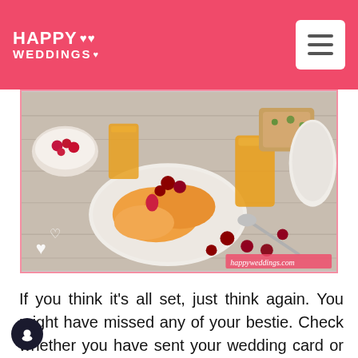HAPPY WEDDINGS
[Figure (photo): Top-down view of a breakfast table spread with fruit plate (oranges, cherries, strawberries), orange juice glasses, bowls of berries, bruschetta, a teapot, and spoons on a wooden surface. White heart overlays and happyweddings.com watermark visible.]
If you think it's all set, just think again. You might have missed any of your bestie. Check whether you have sent your wedding card or save the date card to your friends. Ring them again at least two days before your marriage.